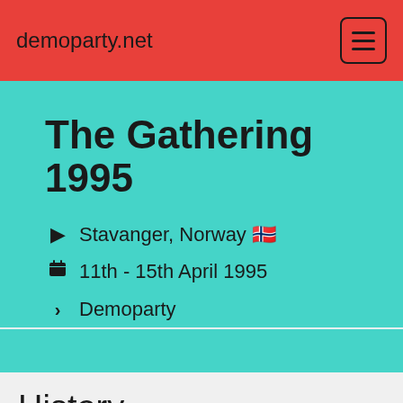demoparty.net
The Gathering 1995
Stavanger, Norway 🇳🇴
11th - 15th April 1995
Demoparty
History
| Type | Date | User | Transa |
| --- | --- | --- | --- |
| [edit icon] | 26/10/2021 | poti | b |